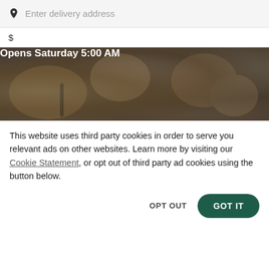Enter delivery address
$
[Figure (photo): Darkened overhead photo of food items (cookies/pastries on plates with cups) with overlay text 'Opens Saturday 5:00 AM']
This website uses third party cookies in order to serve you relevant ads on other websites. Learn more by visiting our Cookie Statement, or opt out of third party ad cookies using the button below.
OPT OUT
GOT IT